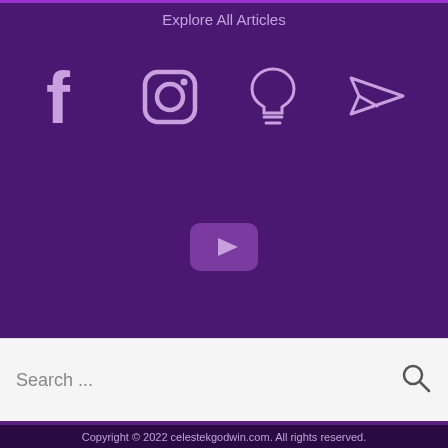Explore All Articles
[Figure (illustration): Four social media icons in a row on purple background: Facebook (f), Instagram (camera/square), Lightbulb idea icon, and Telegram paper plane icon]
[Figure (illustration): YouTube play button icon on a rounded rectangle, purple background]
Search ...
Copyright © 2022 celestekgodwin.com. All rights reserved.